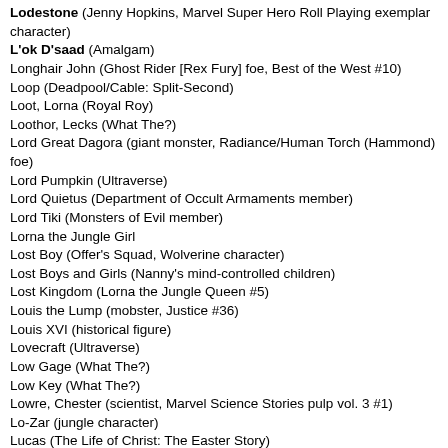Lodestone (Jenny Hopkins, Marvel Super Hero Roll Playing exemplar character)
L'ok D'saad (Amalgam)
Longhair John (Ghost Rider [Rex Fury] foe, Best of the West #10)
Loop (Deadpool/Cable: Split-Second)
Loot, Lorna (Royal Roy)
Loothor, Lecks (What The?)
Lord Great Dagora (giant monster, Radiance/Human Torch (Hammond) foe)
Lord Pumpkin (Ultraverse)
Lord Quietus (Department of Occult Armaments member)
Lord Tiki (Monsters of Evil member)
Lorna the Jungle Girl
Lost Boy (Offer's Squad, Wolverine character)
Lost Boys and Girls (Nanny's mind-controlled children)
Lost Kingdom (Lorna the Jungle Queen #5)
Louis the Lump (mobster, Justice #36)
Louis XVI (historical figure)
Lovecraft (Ultraverse)
Low Gage (What The?)
Low Key (What The?)
Lowre, Chester (scientist, Marvel Science Stories pulp vol. 3 #1)
Lo-Zar (jungle character)
Lucas (The Life of Christ: The Easter Story)
Lucas, George (castaway, World of Fantasy #8)
Lucid (Earth-11052, X-Men: Evolution cartoon)
Lucifer (alien, X-men/Iron Man foe)
Ludi (demon/former god, worshipped by Druids, foe of Murdoch Adams & later Dr. Strange)
Lukasz (Mantra, Ultraverse)